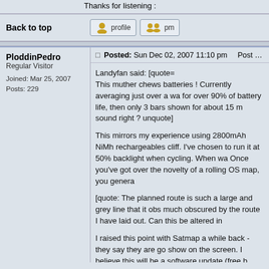Thanks for listening :
Back to top
[Figure (screenshot): Profile and PM buttons with user icons]
PloddinPedro
Regular Visitor

Joined: Mar 25, 2007
Posts: 229
Posted: Sun Dec 02, 2007 11:10 pm    Post subject: Re: Satmap first impres
Landyfan said: [quote=
This muther chews batteries ! Currently averaging just over a wa for over 90% of battery life, then only 3 bars shown for about 15 m sound right ? unquote]

This mirrors my experience using 2800mAh NiMh rechargeables cliff. I've chosen to run it at 50% backlight when cycling. When wa Once you've got over the novelty of a rolling OS map, you genera

[quote: The planned route is such a large and grey line that it obs much obscured by the route I have laid out. Can this be altered in

I raised this point with Satmap a while back - they say they are go show on the screen. I believe this will be a software update (free b

[quote: A couple of the walks were very wet and I now have water See my earlier post on this. Satmap advised me thus:

"Moisture under the screen cover can be removed by easing off th